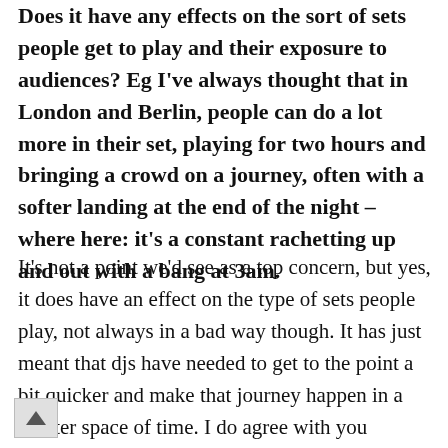Does it have any effects on the sort of sets people get to play and their exposure to audiences? Eg I've always thought that in London and Berlin, people can do a lot more in their set, playing for two hours and bringing a crowd on a journey, often with a softer landing at the end of the night – where here: it's a constant rachetting up and out with a bang at 3am.
It's not a point we'd see as a top concern, but yes, it does have an effect on the type of sets people play, not always in a bad way though. It has just meant that djs have needed to get to the point a bit quicker and make that journey happen in a shorter space of time. I do agree with you though, it's nice to end with a soft